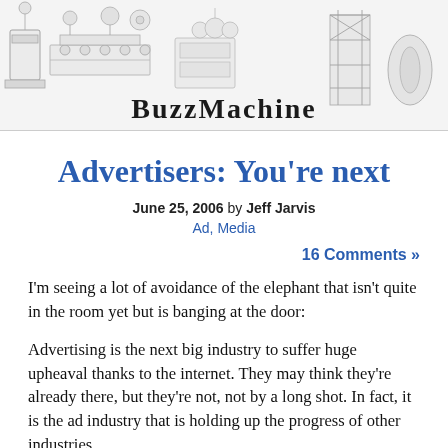[Figure (illustration): BuzzMachine blog header banner showing vintage industrial/printing machinery illustrations in pencil sketch style with the text 'BuzzMachine' in a decorative serif font centered at the bottom]
Advertisers: You’re next
June 25, 2006 by Jeff Jarvis
Ad, Media
16 Comments »
I’m seeing a lot of avoidance of the elephant that isn’t quite in the room yet but is banging at the door:
Advertising is the next big industry to suffer huge upheaval thanks to the internet. They may think they’re already there, but they’re not, not by a long shot. In fact, it is the ad industry that is holding up the progress of other industries